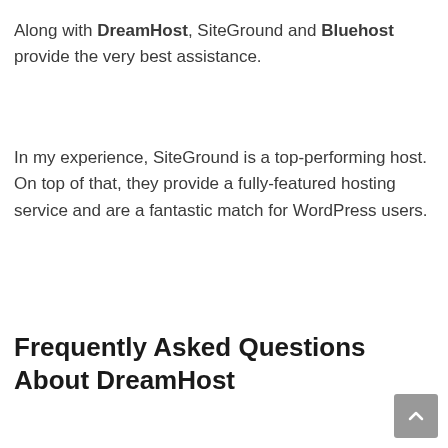Along with DreamHost, SiteGround and Bluehost provide the very best assistance.
In my experience, SiteGround is a top-performing host. On top of that, they provide a fully-featured hosting service and are a fantastic match for WordPress users.
Frequently Asked Questions About DreamHost